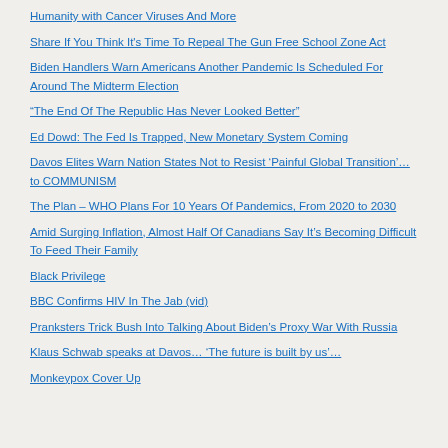Humanity with Cancer Viruses And More
Share If You Think It's Time To Repeal The Gun Free School Zone Act
Biden Handlers Warn Americans Another Pandemic Is Scheduled For Around The Midterm Election
“The End Of The Republic Has Never Looked Better”
Ed Dowd: The Fed Is Trapped, New Monetary System Coming
Davos Elites Warn Nation States Not to Resist ‘Painful Global Transition’… to COMMUNISM
The Plan – WHO Plans For 10 Years Of Pandemics, From 2020 to 2030
Amid Surging Inflation, Almost Half Of Canadians Say It’s Becoming Difficult To Feed Their Family
Black Privilege
BBC Confirms HIV In The Jab (vid)
Pranksters Trick Bush Into Talking About Biden’s Proxy War With Russia
Klaus Schwab speaks at Davos… ‘The future is built by us’…
Monkeypox Cover Up